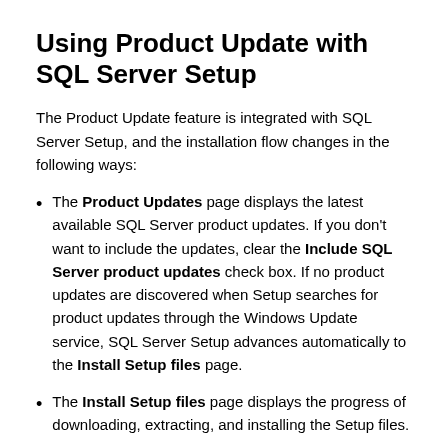Using Product Update with SQL Server Setup
The Product Update feature is integrated with SQL Server Setup, and the installation flow changes in the following ways:
The Product Updates page displays the latest available SQL Server product updates. If you don't want to include the updates, clear the Include SQL Server product updates check box. If no product updates are discovered when Setup searches for product updates through the Windows Update service, SQL Server Setup advances automatically to the Install Setup files page.
The Install Setup files page displays the progress of downloading, extracting, and installing the Setup files.